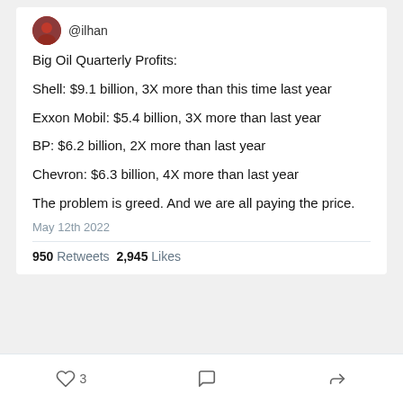@ilhan
Big Oil Quarterly Profits:

Shell: $9.1 billion, 3X more than this time last year

Exxon Mobil: $5.4 billion, 3X more than last year

BP: $6.2 billion, 2X more than last year

Chevron: $6.3 billion, 4X more than last year

The problem is greed. And we are all paying the price.
May 12th 2022
950 Retweets  2,945 Likes
3 [like] [comment] [share]